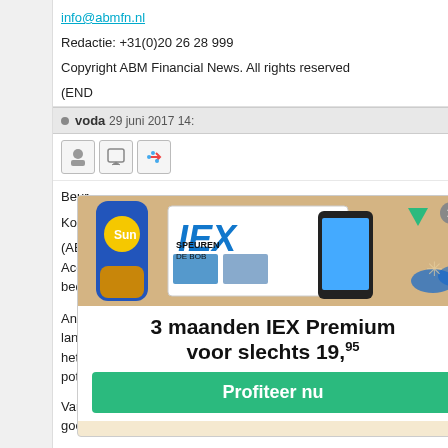info@abmfn.nl
Redactie: +31(0)20 26 28 999
Copyright ABM Financial News. All rights reserved
(END
voda  29 juni 2017 14:...
Beur...
Koer...
(ABM... Accu... bedr...
Anal... lange... het d... poten...
[Figure (advertisement): IEX Premium advertisement overlay showing sunscreen tube, IEX newspaper and phone, with text '3 maanden IEX Premium voor slechts 19,95' and a green 'Profiteer nu' button]
Van den Hooven blijft positief over het aandeel, omdat Brill ee goede ontwikkeling in de omzet genereert en de operationele